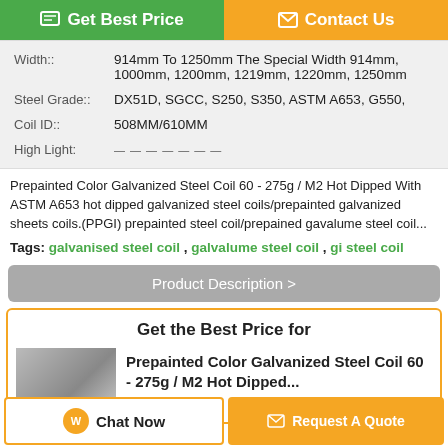Get Best Price
Contact Us
| Width:: | 914mm To 1250mm The Special Width 914mm, 1000mm, 1200mm, 1219mm, 1220mm, 1250mm |
| Steel Grade:: | DX51D, SGCC, S250, S350, ASTM A653, G550, |
| Coil ID:: | 508MM/610MM |
| High Light: |  |
Prepainted Color Galvanized Steel Coil 60 - 275g / M2 Hot Dipped With ASTM A653 hot dipped galvanized steel coils/prepainted galvanized sheets coils.(PPGI) prepainted steel coil/prepained gavalume steel coil...
Tags: galvanised steel coil , galvalume steel coil , gi steel coil
Product Description >
Get the Best Price for
Prepainted Color Galvanized Steel Coil 60 - 275g / M2 Hot Dipped...
Chat Now
Request A Quote